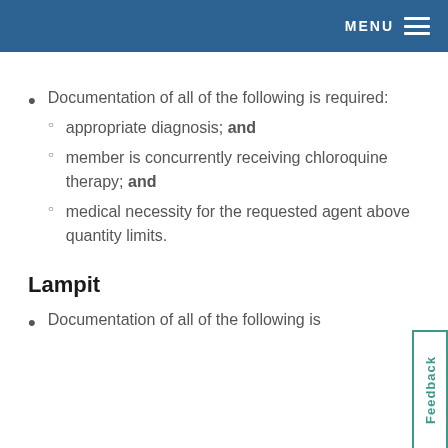MENU
Documentation of all of the following is required:
appropriate diagnosis; and
member is concurrently receiving chloroquine therapy; and
medical necessity for the requested agent above quantity limits.
Lampit
Documentation of all of the following is